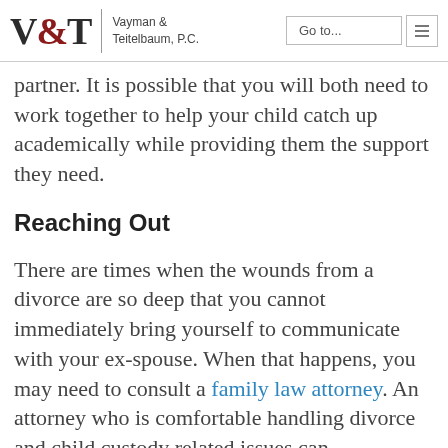V&T Vayman & Teitelbaum, P.C. | Go to... [nav]
partner. It is possible that you will both need to work together to help your child catch up academically while providing them the support they need.
Reaching Out
There are times when the wounds from a divorce are so deep that you cannot immediately bring yourself to communicate with your ex-spouse. When that happens, you may need to consult a family law attorney. An attorney who is comfortable handling divorce and child custody related issues can